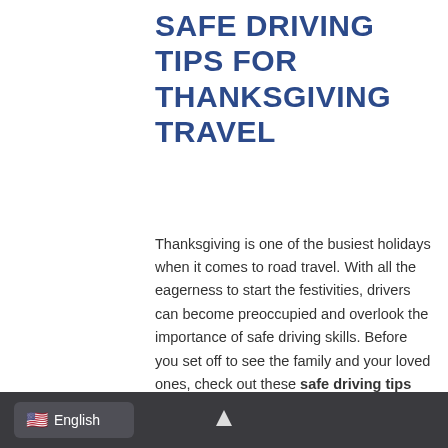SAFE DRIVING TIPS FOR THANKSGIVING TRAVEL
Thanksgiving is one of the busiest holidays when it comes to road travel. With all the eagerness to start the festivities, drivers can become preoccupied and overlook the importance of safe driving skills. Before you set off to see the family and your loved ones, check out these safe driving tips for your Thanksgiving travel. They can help you to get to your destination safely and your auto insurance can help if you break into an accident.
d conditions and weather